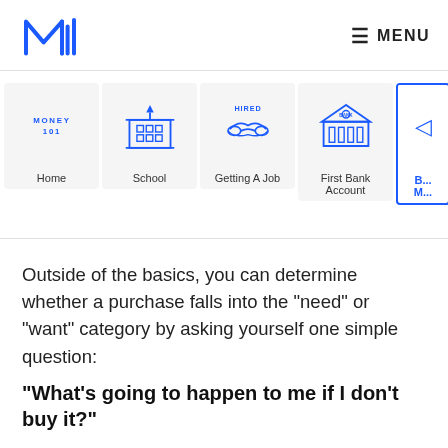MONEY 101 / MENU - website navigation header
[Figure (screenshot): Navigation menu with icons: Home (MONEY 101 logo), School (building with flag), Getting A Job (handshake with HIRED text), First Bank Account (bank building), and a partially visible active item. The active item has a blue border.]
Outside of the basics, you can determine whether a purchase falls into the “need” or “want” category by asking yourself one simple question:
“What’s going to happen to me if I don’t buy it?”
This easy question will often have you laughing at